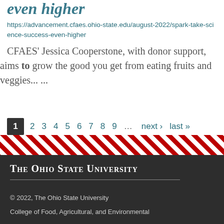even higher
https://advancement.cfaes.ohio-state.edu/august-2022/spark-take-science-success-even-higher
CFAES' Jessica Cooperstone, with donor support, aims to grow the good you get from eating fruits and veggies... ...
Pagination: 1 (current) 2 3 4 5 6 7 8 9 ... next › last »
[Figure (other): Diagonal red and white striped banner divider]
The Ohio State University © 2022, The Ohio State University College of Food, Agricultural, and Environmental